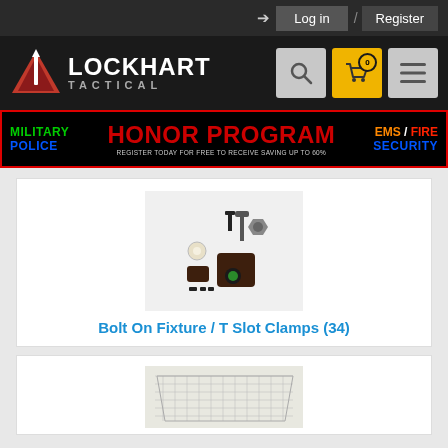Log in / Register
[Figure (logo): Lockhart Tactical logo with red triangle/arrow icon and LOCKHART TACTICAL text]
[Figure (infographic): Honor Program banner: MILITARY POLICE | HONOR PROGRAM | EMS / FIRE SECURITY — Register Today for Free to Receive Saving Up To 60%]
[Figure (photo): Product photo of various bolt-on fixture / T slot clamps hardware pieces]
Bolt On Fixture / T Slot Clamps (34)
[Figure (photo): Partial product photo showing a gridded metal plate/mat]